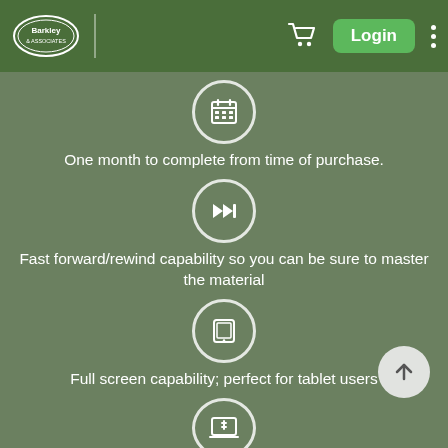[Figure (screenshot): Barkley & Associates website header with logo, cart icon, Login button, and dots menu on a dark green background]
[Figure (infographic): Calendar icon in a circle]
One month to complete from time of purchase.
[Figure (infographic): Fast forward icon in a circle]
Fast forward/rewind capability so you can be sure to master the material
[Figure (infographic): Tablet/monitor icon in a circle]
Full screen capability; perfect for tablet users
[Figure (infographic): Laptop with plus icon in a circle (partially visible)]